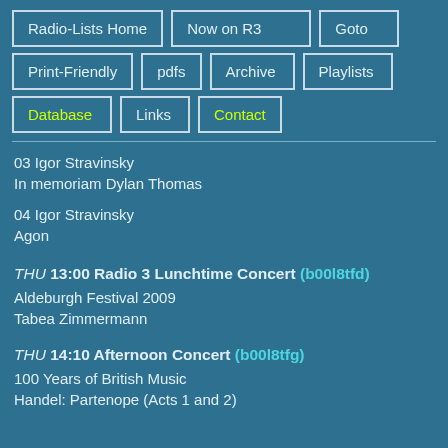Radio-Lists Home
Now on R3
Goto
Print-Friendly
pdfs
Archive
Playlists
Database
Links
Contact
03 Igor Stravinsky
In memoriam Dylan Thomas
04 Igor Stravinsky
Agon
THU 13:00 Radio 3 Lunchtime Concert (b00l8tfd)
Aldeburgh Festival 2009
Tabea Zimmermann
THU 14:10 Afternoon Concert (b00l8tfg)
100 Years of British Music
Handel: Partenope (Acts 1 and 2)